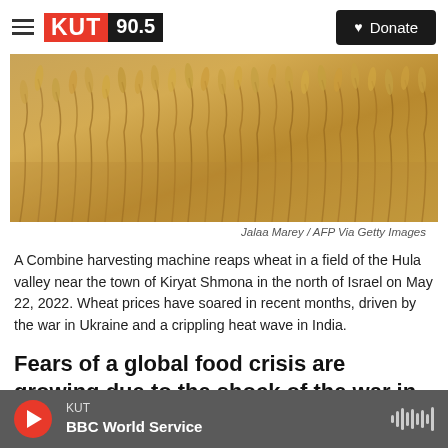KUT 90.5 | Donate
[Figure (photo): Close-up photograph of golden wheat stalks in a field, warm golden-brown tones, representing wheat harvest.]
Jalaa Marey / AFP Via Getty Images
A Combine harvesting machine reaps wheat in a field of the Hula valley near the town of Kiryat Shmona in the north of Israel on May 22, 2022. Wheat prices have soared in recent months, driven by the war in Ukraine and a crippling heat wave in India.
Fears of a global food crisis are growing due to the shock of the war in Ukraine, climate change and
KUT | BBC World Service